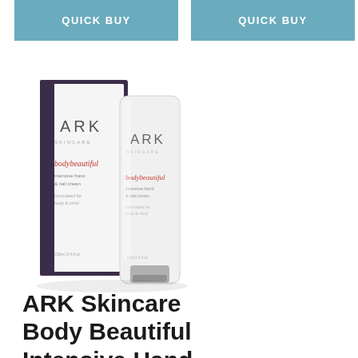QUICK BUY
QUICK BUY
[Figure (photo): ARK Skincare Body Beautiful Intensive Hand and Nail Cream product photo showing a white tube with red and black text alongside its dark purple/navy rectangular box packaging with white ARK Skincare branding]
ARK Skincare Body Beautiful Intensive Hand and Nail Cream 101g